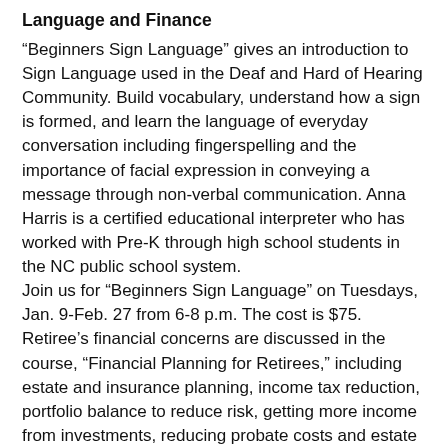Language and Finance
“Beginners Sign Language” gives an introduction to Sign Language used in the Deaf and Hard of Hearing Community. Build vocabulary, understand how a sign is formed, and learn the language of everyday conversation including fingerspelling and the importance of facial expression in conveying a message through non-verbal communication. Anna Harris is a certified educational interpreter who has worked with Pre-K through high school students in the NC public school system.
Join us for “Beginners Sign Language” on Tuesdays, Jan. 9-Feb. 27 from 6-8 p.m. The cost is $75.
Retiree’s financial concerns are discussed in the course, “Financial Planning for Retirees,” including estate and insurance planning, income tax reduction, portfolio balance to reduce risk, getting more income from investments, reducing probate costs and estate taxes, and long-term care planning.
“Financial Planning for Retirees” will be on Thursdays and…